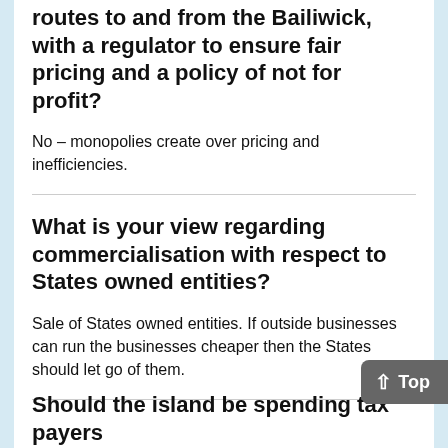routes to and from the Bailiwick, with a regulator to ensure fair pricing and a policy of not for profit?
No – monopolies create over pricing and inefficiencies.
What is your view regarding commercialisation with respect to States owned entities?
Sale of States owned entities. If outside businesses can run the businesses cheaper then the States should let go of them.
Should the island be spending tax payers